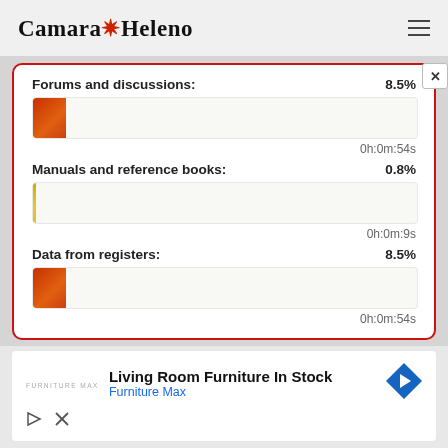Camara Heleno
[Figure (infographic): Statistics card with three progress bar rows: Forums and discussions 8.5% (0h:0m:54s), Manuals and reference books 0.8% (0h:0m:9s), Data from registers 8.5% (0h:0m:54s)]
[Figure (infographic): Advertisement: Living Room Furniture In Stock - Furniture Max]